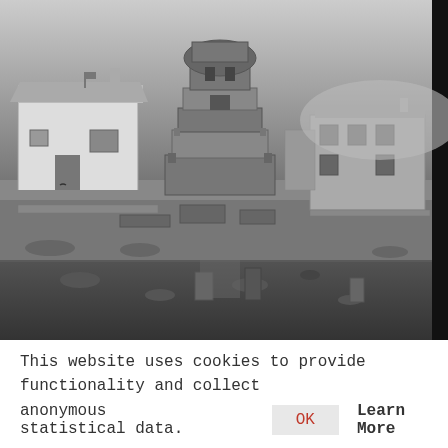[Figure (photo): Black and white photograph showing an ancient stone monument or tomb structure in the center, surrounded by old buildings, scattered ruins, and a flooded/marshy foreground with reflections in water. The scene appears to be an archaeological site in a rural village setting.]
This website uses cookies to provide functionality and collect anonymous statistical data.
OK   Learn More